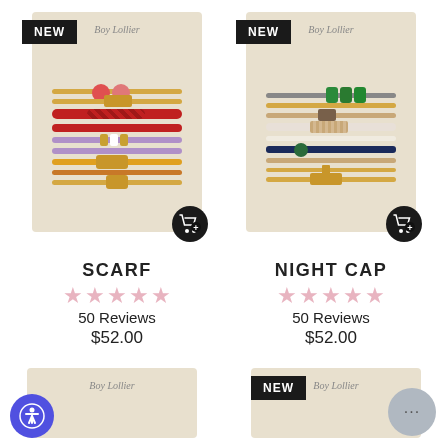[Figure (photo): Bracelet stack product photo labeled SCARF with NEW badge, colorful braided and cord bracelets on a beige card]
SCARF
50 Reviews
$52.00
[Figure (photo): Bracelet stack product photo labeled NIGHT CAP with NEW badge, green, navy, pink and gold cord bracelets on a beige card]
NIGHT CAP
50 Reviews
$52.00
[Figure (photo): Partial view of bottom-left product card, beige bracelet card]
[Figure (photo): Partial view of bottom-right product card with NEW badge, beige bracelet card]